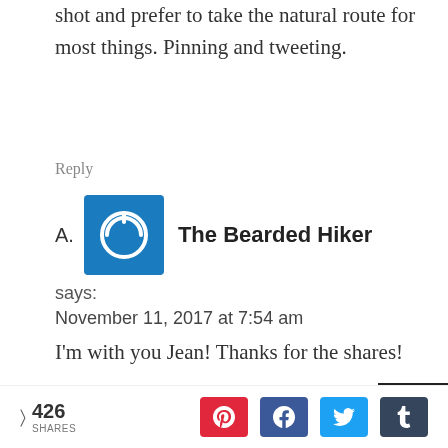shot and prefer to take the natural route for most things. Pinning and tweeting.
Reply
A. The Bearded Hiker says: November 11, 2017 at 7:54 am I'm with you Jean! Thanks for the shares!
< 426 SHARES [Pinterest] [Facebook] [Twitter] [Tumblr]